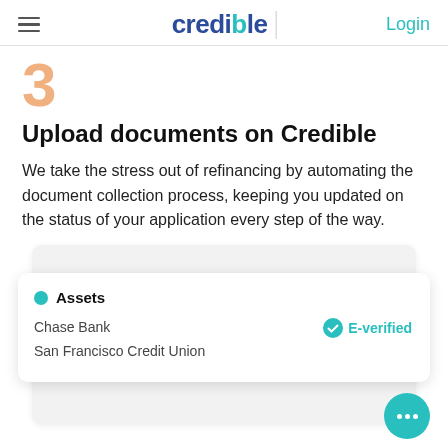credible | Login
Upload documents on Credible
We take the stress out of refinancing by automating the document collection process, keeping you updated on the status of your application every step of the way.
[Figure (screenshot): A UI card showing Assets section with Chase Bank and San Francisco Credit Union listed, and an E-verified badge on the right. A teal chat button is visible in the corner.]